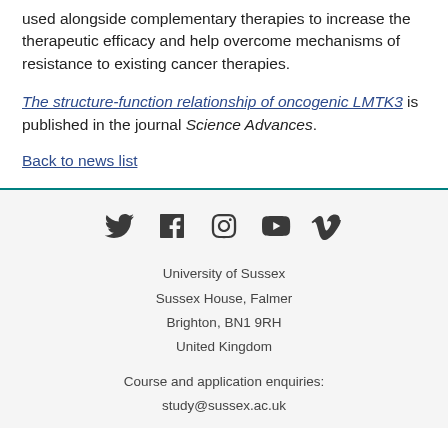used alongside complementary therapies to increase the therapeutic efficacy and help overcome mechanisms of resistance to existing cancer therapies.
The structure-function relationship of oncogenic LMTK3 is published in the journal Science Advances.
Back to news list
[Figure (infographic): Social media icons row: Twitter, Facebook, Instagram, YouTube, Vimeo]
University of Sussex
Sussex House, Falmer
Brighton, BN1 9RH
United Kingdom

Course and application enquiries:
study@sussex.ac.uk